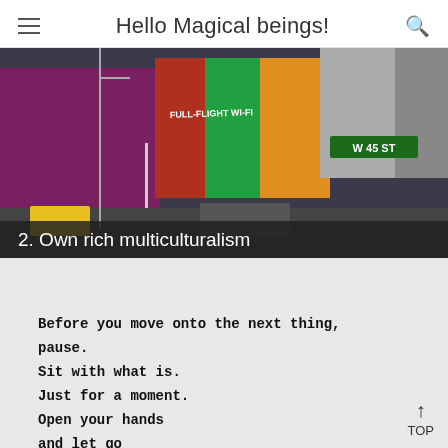Hello Magical beings!
[Figure (photo): Street scene in New York City showing Times Square area with colorful billboards and signs including 'FULL-FLIGHT WI-FI' and a street sign for 'W 45 ST']
2. Own rich multiculturalism
Before you move onto the next thing, pause.
Sit with what is.
Just for a moment.
Open your hands
and let go
of what you're holding tight